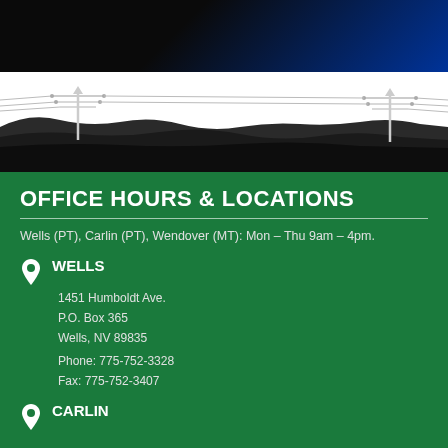[Figure (illustration): Dark blue-black gradient header at top, followed by illustrated landscape with power line poles on left and right, dark mountain silhouette, white sky, transitioning to green rolling hills]
OFFICE HOURS & LOCATIONS
Wells (PT), Carlin (PT), Wendover (MT): Mon – Thu 9am – 4pm.
WELLS
1451 Humboldt Ave.
P.O. Box 365
Wells, NV 89835
Phone: 775-752-3328
Fax: 775-752-3407
CARLIN